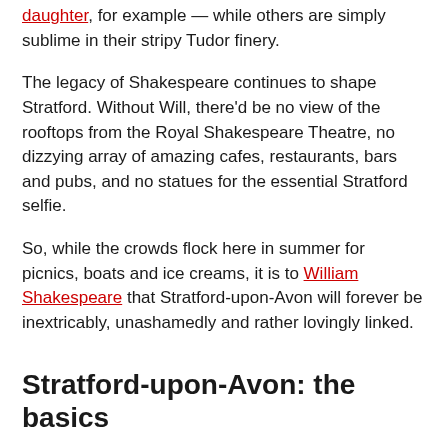daughter, for example — while others are simply sublime in their stripy Tudor finery.
The legacy of Shakespeare continues to shape Stratford. Without Will, there'd be no view of the rooftops from the Royal Shakespeare Theatre, no dizzying array of amazing cafes, restaurants, bars and pubs, and no statues for the essential Stratford selfie.
So, while the crowds flock here in summer for picnics, boats and ice creams, it is to William Shakespeare that Stratford-upon-Avon will forever be inextricably, unashamedly and rather lovingly linked.
Stratford-upon-Avon: the basics
How to get to Stratford-upon-Avon
I'll be honest with you: transport links to Stratford-upon-Avon